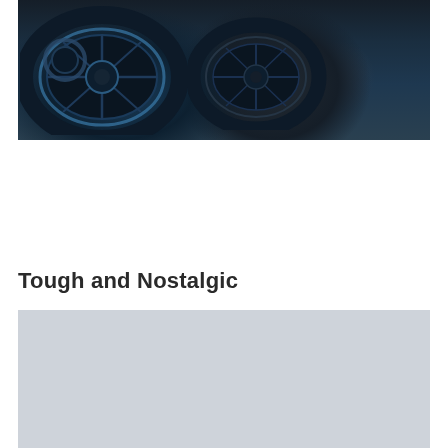[Figure (photo): Close-up photo of motorcycle wheels on road, dark blue-tinted image showing front wheel with disc brake and rear wheel in background]
Tough and Nostalgic
[Figure (photo): Light gray placeholder image, likely a motorcycle photo loading or faded]